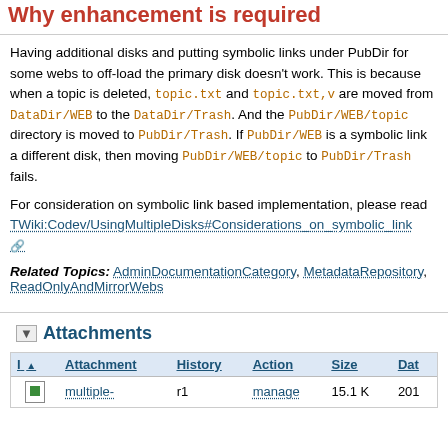Why enhancement is required
Having additional disks and putting symbolic links under PubDir for some webs to off-load the primary disk doesn't work. This is because when a topic is deleted, topic.txt and topic.txt,v are moved from DataDir/WEB to the DataDir/Trash. And the PubDir/WEB/topic directory is moved to PubDir/Trash. If PubDir/WEB is a symbolic link a different disk, then moving PubDir/WEB/topic to PubDir/Trash fails.
For consideration on symbolic link based implementation, please read TWiki:Codev/UsingMultipleDisks#Considerations_on_symbolic_link
Related Topics: AdminDocumentationCategory, MetadataRepository, ReadOnlyAndMirrorWebs
Attachments
| I | Attachment | History | Action | Size | Date |
| --- | --- | --- | --- | --- | --- |
|  | multiple- | r1 | manage | 15.1 K | 201 |